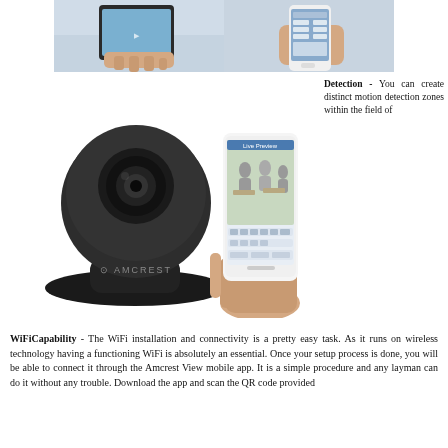[Figure (photo): Two photos side by side: left shows a hand holding a tablet with an image on screen; right shows a hand holding a smartphone showing a control interface.]
[Figure (photo): Black Amcrest brand IP security camera (dome/pan-tilt style) on the left, and a hand holding a smartphone displaying a live camera feed on the right.]
Detection - You can create distinct motion detection zones within the field of
WiFiCapability - The WiFi installation and connectivity is a pretty easy task. As it runs on wireless technology having a functioning WiFi is absolutely an essential. Once your setup process is done, you will be able to connect it through the Amcrest View mobile app. It is a simple procedure and any layman can do it without any trouble. Download the app and scan the QR code provided